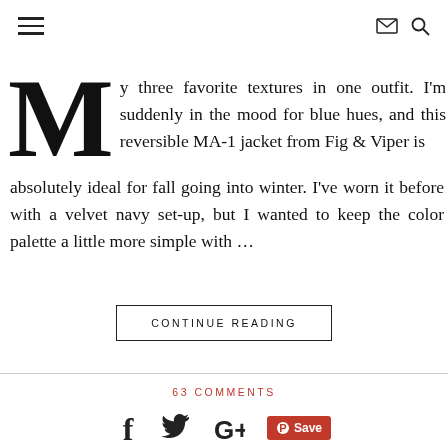Navigation icons: hamburger menu, envelope, search
My three favorite textures in one outfit. I'm suddenly in the mood for blue hues, and this reversible MA-1 jacket from Fig & Viper is absolutely ideal for fall going into winter. I've worn it before with a velvet navy set-up, but I wanted to keep the color palette a little more simple with …
CONTINUE READING
63 COMMENTS
[Figure (infographic): Social share icons: Facebook f, Twitter bird, Google+, Pinterest Save button in red]